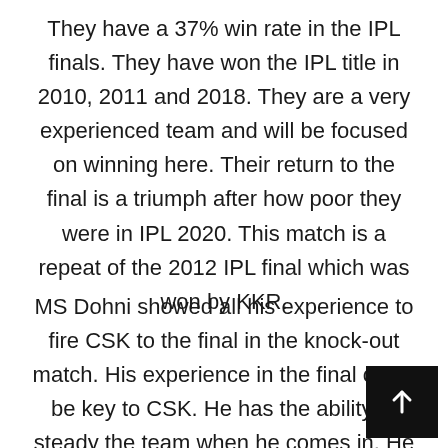They have a 37% win rate in the IPL finals. They have won the IPL title in 2010, 2011 and 2018. They are a very experienced team and will be focused on winning here. Their return to the final is a triumph after how poor they were in IPL 2020. This match is a repeat of the 2012 IPL final which was won by KKR.
MS Dohni showed all his experience to fire CSK to the final in the knock-out match. His experience in the final could be key to CSK. He has the ability to steady the team when he comes in. He also always knows what the team needs and plays to what is required whilst still imposing his